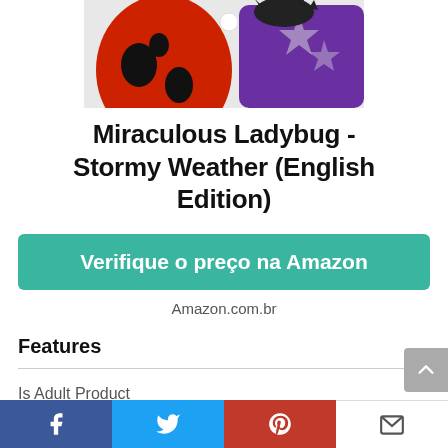[Figure (photo): Product image of Miraculous Ladybug and villain character in purple costume]
Miraculous Ladybug - Stormy Weather (English Edition)
Verifique o preço na Amazon
Amazon.com.br
Features
Is Adult Product
[Figure (other): Social media share bar with Facebook, Twitter, Pinterest, and email icons]